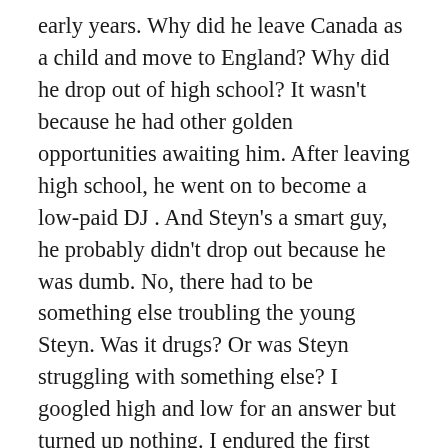early years. Why did he leave Canada as a child and move to England? Why did he drop out of high school? It wasn't because he had other golden opportunities awaiting him. After leaving high school, he went on to become a low-paid DJ . And Steyn's a smart guy, he probably didn't drop out because he was dumb. No, there had to be something else troubling the young Steyn. Was it drugs? Or was Steyn struggling with something else? I googled high and low for an answer but turned up nothing. I endured the first half hour of his C-SPAN appearance and neatly evade the question of his upbringing on his C-CPAN interview with a story about how he ended up in New Hampshire. I even reached out to Steyn on